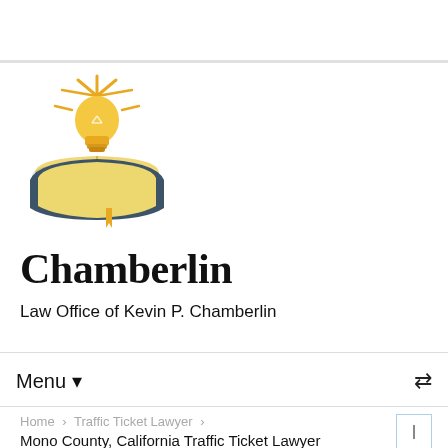[Figure (logo): Chamberlin Law Office logo: an open book with a glowing light bulb above it emitting rays, in golden yellow and dark navy/slate blue colors, with a bookmark ribbon.]
Chamberlin
Law Office of Kevin P. Chamberlin
Menu
Home › Traffic Ticket Lawyer ›
Mono County, California Traffic Ticket Lawyer